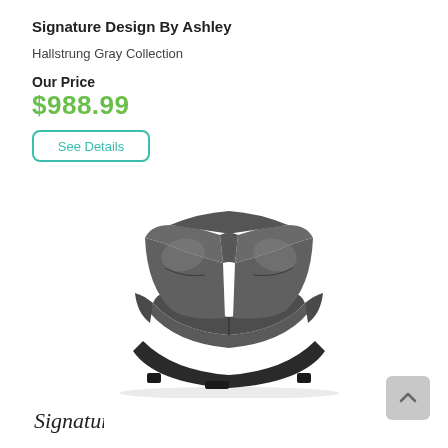Signature Design By Ashley
Hallstrung Gray Collection
Our Price
$988.99
See Details
[Figure (photo): Gray leather corner sectional sofa wedge piece from the Hallstrung Gray Collection, shown from a slightly elevated front angle.]
[Figure (logo): Signature Design by Ashley cursive logo in dark ink at bottom left.]